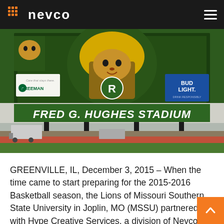NEVCO
[Figure (photo): Photo of Fred G. Hughes Stadium scoreboard/signage at Missouri Southern State University, showing the stadium name in large green and white letters, with a lion mascot graphic, Freeman and Bud Light sponsor logos visible.]
GREENVILLE, IL, December 3, 2015 – When the time came to start preparing for the 2015-2016 Basketball season, the Lions of Missouri Southern State University in Joplin, MO (MSSU) partnered with Hype Creative Services, a division of Nevco, to create new exciting 3D rotating logo animations and fan prom